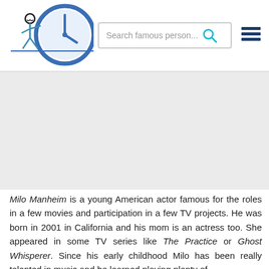Search famous person...
[Figure (other): Gray placeholder area for an image or advertisement]
Milo Manheim is a young American actor famous for the roles in a few movies and participation in a few TV projects. He was born in 2001 in California and his mom is an actress too. She appeared in some TV series like The Practice or Ghost Whisperer. Since his early childhood Milo has been really talented in music and he learned playing plenty of